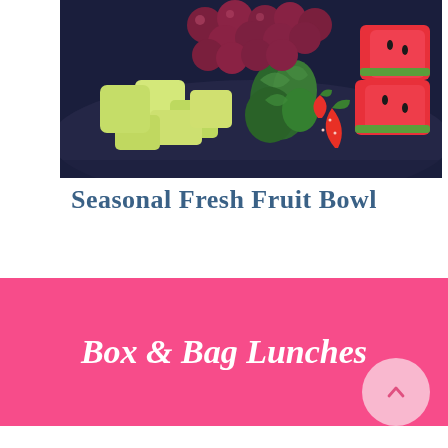[Figure (photo): A glass bowl filled with colorful fresh fruit: red grapes, honeydew melon chunks, kale, strawberries, and watermelon pieces arranged together.]
Seasonal Fresh Fruit Bowl
Box & Bag Lunches